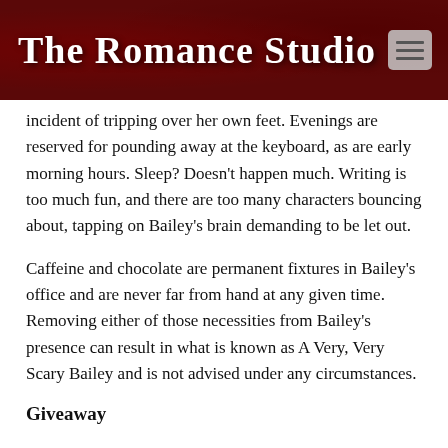The Romance Studio
incident of tripping over her own feet. Evenings are reserved for pounding away at the keyboard, as are early morning hours. Sleep? Doesn’t happen much. Writing is too much fun, and there are too many characters bouncing about, tapping on Bailey's brain demanding to be let out.
Caffeine and chocolate are permanent fixtures in Bailey’s office and are never far from hand at any given time. Removing either of those necessities from Bailey's presence can result in what is known as A Very, Very Scary Bailey and is not advised under any circumstances.
Giveaway